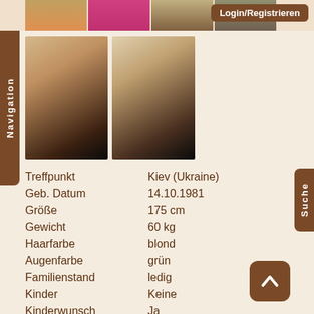[Figure (photo): Top banner strip with partial photos of women in colorful outfits]
Login/Registrieren
[Figure (photo): Navigation sidebar tab on the left]
[Figure (photo): Two profile photos of a blonde woman in black outfit]
| Label | Value |
| --- | --- |
| Treffpunkt | Kiev (Ukraine) |
| Geb. Datum | 14.10.1981 |
| Größe | 175 cm |
| Gewicht | 60 kg |
| Haarfarbe | blond |
| Augenfarbe | grün |
| Familienstand | ledig |
| Kinder | Keine |
| Kinderwunsch | Ja |
| Rauchen | nein |
| Schulbildung | Universität |
| Berufsausbildung | teacher, swimming coach |
Suche
[Figure (illustration): Scroll-up arrow button (brown rounded square with upward chevron)]